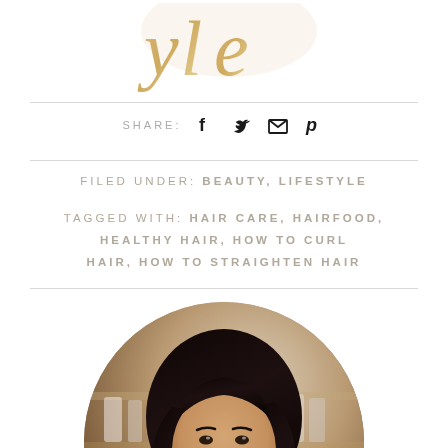[Figure (logo): Partial script/cursive logo in gold/khaki color, partially cropped at top]
SHARE:
FILED UNDER: BEAUTY, LIFESTYLE
TAGGED WITH: HAIR CARE, HAIRFOOD, HEALTHY HAIR, HOW TO CURL HAIR, HOW TO STRAIGHTEN HAIR
[Figure (photo): A woman with dark hair smiling, shown in a circular crop, with a blurred salon/shelf background]